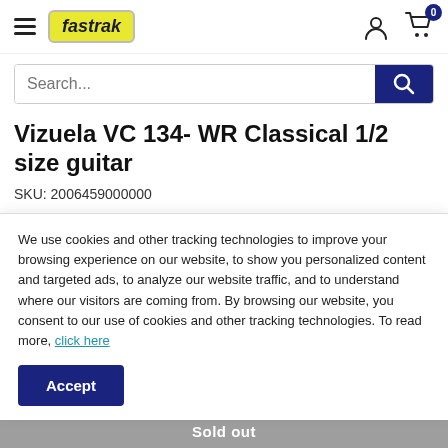fastrak — navigation header with hamburger menu, logo, user icon, and cart (0)
Search...
Vizuela VC 134- WR Classical 1/2 size guitar
SKU: 2006459000000
We use cookies and other tracking technologies to improve your browsing experience on our website, to show you personalized content and targeted ads, to analyze our website traffic, and to understand where our visitors are coming from. By browsing our website, you consent to our use of cookies and other tracking technologies. To read more, click here
Accept
Sold out